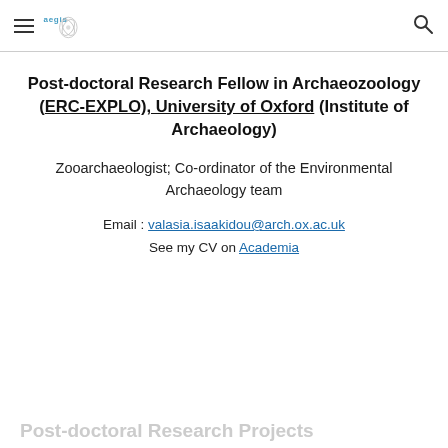aegis [logo] [hamburger menu] [search icon]
Post-doctoral Research Fellow in Archaeozoology (ERC-EXPLO), University of Oxford (Institute of Archaeology)
Zooarchaeologist; Co-ordinator of the Environmental Archaeology team
Email : valasia.isaakidou@arch.ox.ac.uk
See my CV on Academia
Post-doctoral Research Projects (partial, cut off)